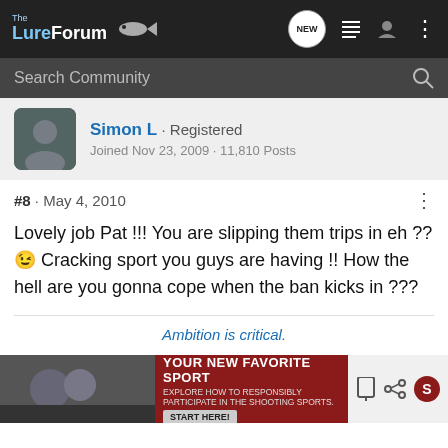The LureForum
Search Community
Simon L · Registered
Joined Nov 23, 2009 · 11,810 Posts
#8 · May 4, 2010
Lovely job Pat !!! You are slipping them trips in eh ?? 😉 Cracking sport you guys are having !! How the hell are you gonna cope when the ban kicks in ???
Ambition is critical.
[Figure (photo): Advertisement banner: YOUR NEW FAVORITE SPORT - EXPLORE HOW TO RESPONSIBLY PARTICIPATE IN THE SHOOTING SPORTS. START HERE!]